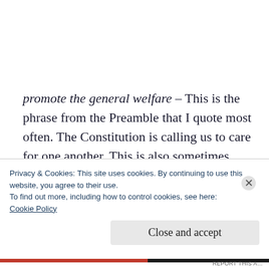promote the general welfare – This is the phrase from the Preamble that I quote most often. The Constitution is calling us to care for one another. This is also sometimes called in our modern American English working for the common good. This is one of the purposes of
Privacy & Cookies: This site uses cookies. By continuing to use this website, you agree to their use.
To find out more, including how to control cookies, see here:
Cookie Policy